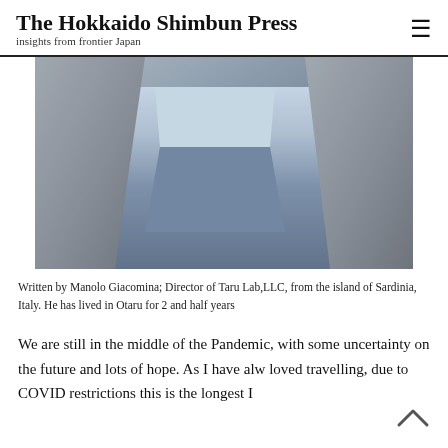The Hokkaido Shimbun Press
insights from frontier Japan
[Figure (photo): Close-up photo of a person wearing a grey knit cardigan over a blue and light blue color-blocked top]
Written by Manolo Giacomina; Director of Taru Lab,LLC, from the island of Sardinia, Italy. He has lived in Otaru for 2 and half years
We are still in the middle of the Pandemic, with some uncertainty on the future and lots of hope. As I have alw loved travelling, due to COVID restrictions this is the longest I